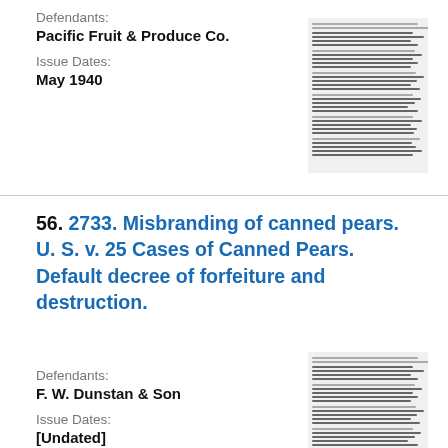Defendants:
Pacific Fruit & Produce Co.
Issue Dates:
May 1940
[Figure (other): Thumbnail image of a scanned legal document page]
56. 2733. Misbranding of canned pears. U. S. v. 25 Cases of Canned Pears. Default decree of forfeiture and destruction.
Defendants:
F. W. Dunstan & Son
Issue Dates:
[Undated]
[Figure (other): Thumbnail image of a scanned legal document page]